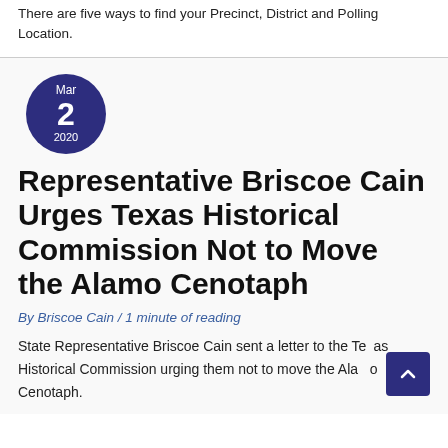There are five ways to find your Precinct, District and Polling Location.
[Figure (other): Dark blue circular date badge showing Mar 2 2020]
Representative Briscoe Cain Urges Texas Historical Commission Not to Move the Alamo Cenotaph
By Briscoe Cain / 1 minute of reading
State Representative Briscoe Cain sent a letter to the Texas Historical Commission urging them not to move the Alamo Cenotaph.